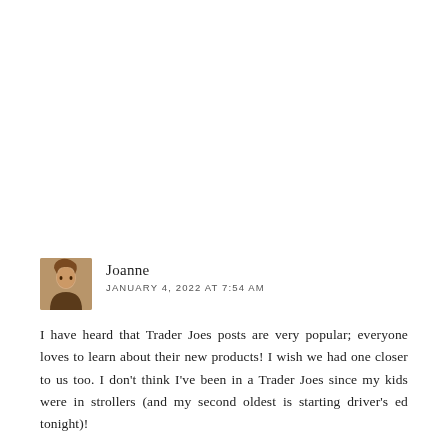[Figure (photo): Small square avatar photo of a woman with brown hair outdoors]
Joanne
JANUARY 4, 2022 AT 7:54 AM
I have heard that Trader Joes posts are very popular; everyone loves to learn about their new products! I wish we had one closer to us too. I don't think I've been in a Trader Joes since my kids were in strollers (and my second oldest is starting driver's ed tonight)!
REPLY